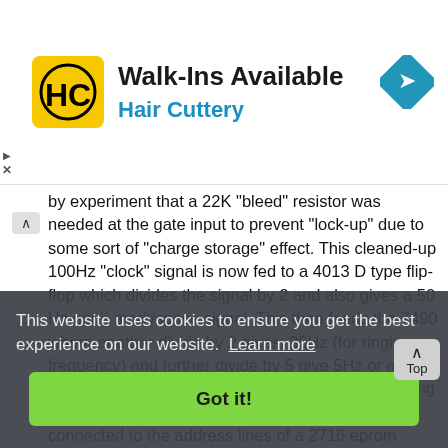[Figure (screenshot): Advertisement banner for Hair Cuttery salon with logo, Walk-Ins Available text, and directions icon]
by experiment that a 22K "bleed" resistor was needed at the gate input to prevent "lock-up" due to some sort of "charge storage" effect. This cleaned-up 100Hz "clock" signal is now fed to a 4013 D type flip-flop which divides the signal by 2 and also gives a 50 Hz equi` mark/space signal. This then feeds the 7490 where another divide by 2 gives; 25Hz (for ringing frequency) and further divide by 5 give 5Hz or a 200mS interval suitable for producing the correct ring cadence. The sequential outputs of the 4040 are connected to the address lines of a 2716 eprom which has been field programmed to provide a serial output bit-stream of 200mS interval used as a gating signal to enable on and off the output of the eprom drives to the next sequential address. The first 64 locations contain...
This website uses cookies to ensure you get the best experience on our website. Learn more
Got it!